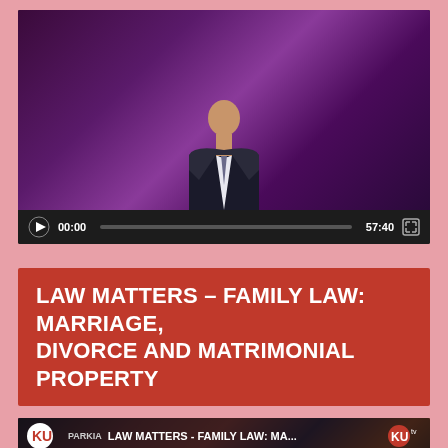[Figure (screenshot): Video player showing two people in suits on a TV studio set, with playback controls showing 00:00 / 57:40]
LAW MATTERS – FAMILY LAW: MARRIAGE, DIVORCE AND MATRIMONIAL PROPERTY
[Figure (screenshot): Video player showing a woman in a blue blazer smiling in a TV studio, with KU logo overlay, title 'LAW MATTERS - FAMILY LAW: MA...' and playback controls showing 00:00 / 58:14]